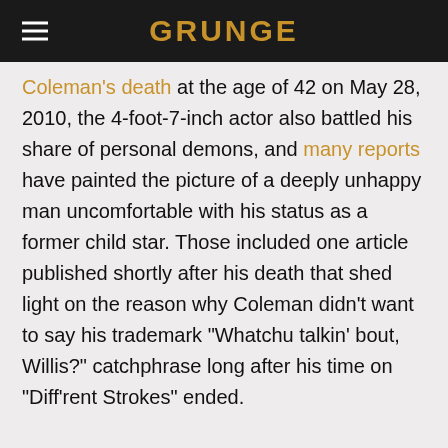GRUNGE
Coleman's death at the age of 42 on May 28, 2010, the 4-foot-7-inch actor also battled his share of personal demons, and many reports have painted the picture of a deeply unhappy man uncomfortable with his status as a former child star. Those included one article published shortly after his death that shed light on the reason why Coleman didn't want to say his trademark "Whatchu talkin' bout, Willis?" catchphrase long after his time on "Diff'rent Strokes" ended.